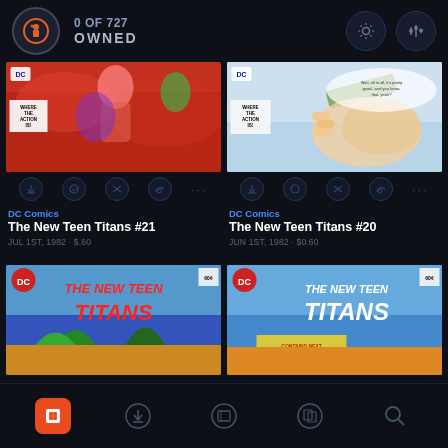0 OF 727 OWNED
[Figure (screenshot): Comic book cover for The New Teen Titans #21]
[Figure (screenshot): Comic book cover for The New Teen Titans #20]
DC Comics
The New Teen Titans #21
JUL 1ST, 1982 · $.60
DC Comics
The New Teen Titans #20
JUN 1ST, 1982 · $0.60
[Figure (screenshot): Comic book cover for The New Teen Titans #19]
[Figure (screenshot): Comic book cover for The New Teen Titans #18]
Bottom navigation bar with icons: home, download, library, reading, search